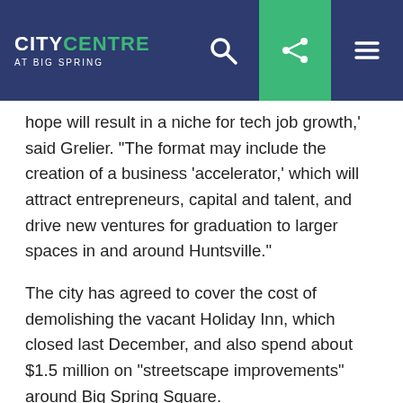CITY CENTRE AT BIG SPRING — navigation bar with search, share, and menu icons
hope will result in a niche for tech job growth,' said Grelier. “The format may include the creation of a business ‘accelerator,’ which will attract entrepreneurs, capital and talent, and drive new ventures for graduation to larger spaces in and around Huntsville.”
The city has agreed to cover the cost of demolishing the vacant Holiday Inn, which closed last December, and also spend about $1.5 million on “streetscape improvements” around Big Spring Square.
Those improvements could take the form of narrowing Williams Avenue, which spans five lanes in front of the Holiday Inn site. Big Spring Square patrons will have to walk across the road to get to the park, Huntsville Museum of Art and other parts of downtown.